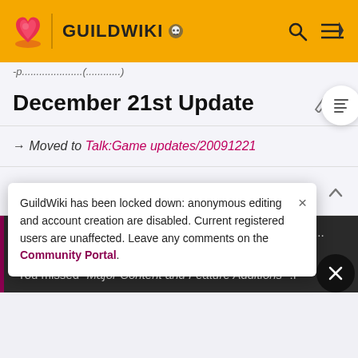GUILDWIKI
December 21st Update
→ Moved to Talk:Game updates/20091221
Update
GuildWiki has been locked down: anonymous editing and account creation are disabled. Current registered users are unaffected. Leave any comments on the Community Portal.
miss anything in between? —Dr Ishmael 🐝 23:57, January 16, 2010 (UTC)
You missed "Major Content and Feature Additions" :P